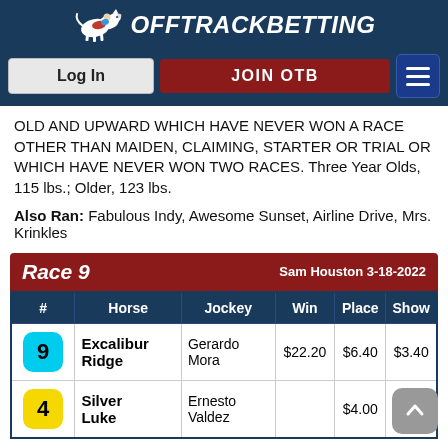OffTrackBetting
OLD AND UPWARD WHICH HAVE NEVER WON A RACE OTHER THAN MAIDEN, CLAIMING, STARTER OR TRIAL OR WHICH HAVE NEVER WON TWO RACES. Three Year Olds, 115 lbs.; Older, 123 lbs.
Also Ran: Fabulous Indy, Awesome Sunset, Airline Drive, Mrs. Krinkles
| # | Horse | Jockey | Win | Place | Show |
| --- | --- | --- | --- | --- | --- |
| 9 | Excalibur Ridge | Gerardo Mora | $22.20 | $6.40 | $3.40 |
| 4 | Silver Luke | Ernesto Valdez |  | $4.00 | $2.80 |